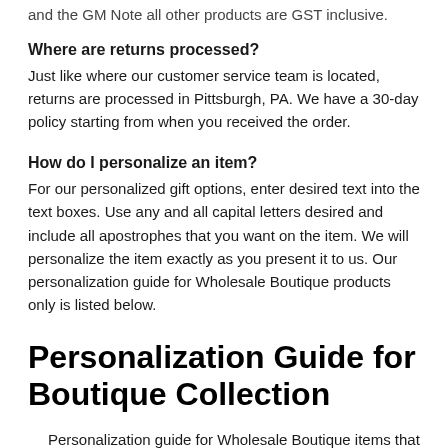and the GM Note all other products are GST inclusive.
Where are returns processed?
Just like where our customer service team is located, returns are processed in Pittsburgh, PA. We have a 30-day policy starting from when you received the order.
How do I personalize an item?
For our personalized gift options, enter desired text into the text boxes. Use any and all capital letters desired and include all apostrophes that you want on the item. We will personalize the item exactly as you present it to us. Our personalization guide for Wholesale Boutique products only is listed below.
Personalization Guide for Boutique Collection
Personalization guide for Wholesale Boutique items that offer customization. Note: items that follow this guide will have the